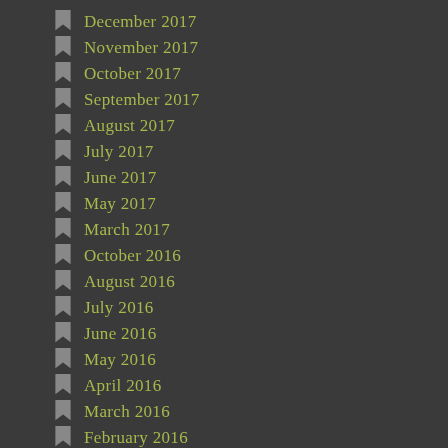December 2017
November 2017
October 2017
September 2017
August 2017
July 2017
June 2017
May 2017
March 2017
October 2016
August 2016
July 2016
June 2016
May 2016
April 2016
March 2016
February 2016
January 2016